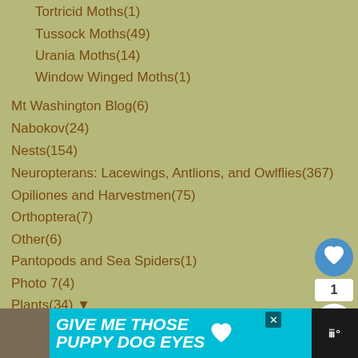Tortricid Moths(1)
Tussock Moths(49)
Urania Moths(14)
Window Winged Moths(1)
Mt Washington Blog(6)
Nabokov(24)
Nests(154)
Neuropterans: Lacewings, Antlions, and Owlflies(367)
Opiliones and Harvestmen(75)
Orthoptera(7)
Other(6)
Pantopods and Sea Spiders(1)
Photo 7(4)
Plants(34) ▼
ferns and mosses(2)
Seed Pods(21)
Potato Bugs, Wetas and Parktown Prawns(185)
Preying Mantis(361)
[Figure (screenshot): Ad banner: GIVE ME THOSE PUPPY DOG EYES with dog image and heart icon]
[Figure (screenshot): What's Next card showing Female Broad Necked Roo...]
[Figure (screenshot): UI buttons: heart/like button with count 1 and share button]